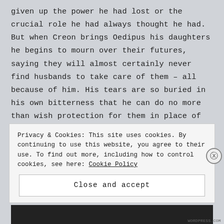given up the power he had lost or the crucial role he had always thought he had. But when Creon brings Oedipus his daughters he begins to mourn over their futures, saying they will almost certainly never find husbands to take care of them – all because of him. His tears are so buried in his own bitterness that he can do no more than wish protection for them in place of the life he should have been able to give them. However, it is my opinion that it is Oedipus' daughters who begin the humble
Privacy & Cookies: This site uses cookies. By continuing to use this website, you agree to their use. To find out more, including how to control cookies, see here: Cookie Policy
Close and accept